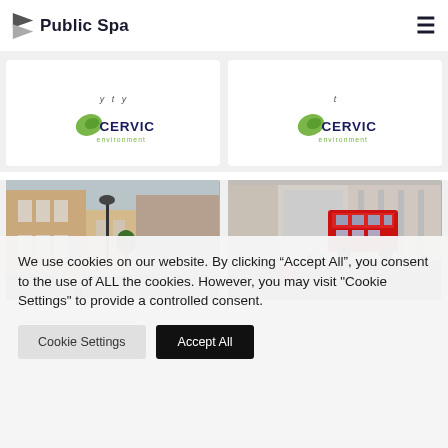Public Spa
[Figure (logo): CERVIC environment logo — left card]
[Figure (logo): CERVIC environment logo — right card]
[Figure (photo): Street scene with historic buildings, lamp posts, and pedestrians]
[Figure (photo): Busy city street with red double-decker bus, pedestrians in foreground]
We use cookies on our website. By clicking “Accept All”, you consent to the use of ALL the cookies. However, you may visit "Cookie Settings" to provide a controlled consent.